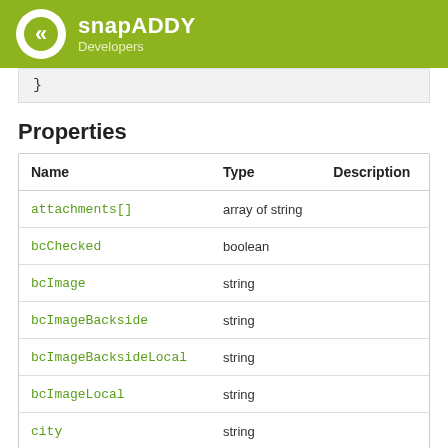snapADDY Developers
}
Properties
| Name | Type | Description |
| --- | --- | --- |
| attachments[] | array of string |  |
| bcChecked | boolean |  |
| bcImage | string |  |
| bcImageBackside | string |  |
| bcImageBacksideLocal | string |  |
| bcImageLocal | string |  |
| city | string |  |